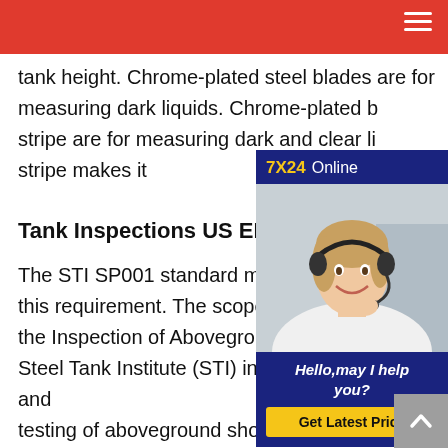7X24 Online
tank height. Chrome-plated steel blades are for measuring dark liquids. Chrome-plated b stripe are for measuring dark and clear li stripe makes it
Tank Inspections US EPA
The STI SP001 standard may be used t this requirement. The scope of STI SP0 the Inspection of Aboveground Storage Steel Tank Institute (STI) includes the inspection and testing of aboveground shop-fabricated tanks , small field-erected tanks , portable containers, and. associated secondary containment. TANKS Inc. gas tanks for street rods, muscle cars, custom tanks rule steelWelcome to Tanks , Inc. For over 30 years we have
[Figure (photo): Customer service representative with headset smiling, inside a chat widget overlay with '7X24 Online' header, 'Hello,may I help you?' text, and 'Get Latest Price' yellow button]